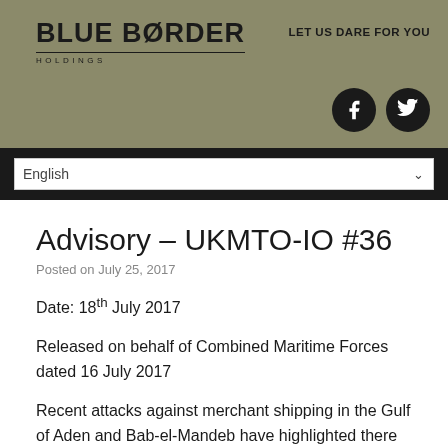BLUE BORDER HOLDINGS — LET US DARE FOR YOU
Advisory – UKMTO-IO #36
Posted on July 25, 2017
Date: 18th July 2017
Released on behalf of Combined Maritime Forces dated 16 July 2017
Recent attacks against merchant shipping in the Gulf of Aden and Bab-el-Mandeb have highlighted there are